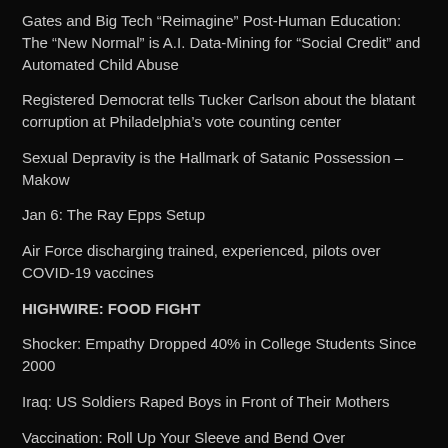Gates and Big Tech “Reimagine” Post-Human Education: The “New Normal” is A.I. Data-Mining for “Social Credit” and Automated Child Abuse
Registered Democrat tells Tucker Carlson about the blatant corruption at Philadelphia’s vote counting center
Sexual Depravity is the Hallmark of Satanic Possession – Makow
Jan 6: The Ray Epps Setup
Air Force discharging trained, experienced, pilots over COVID-19 vaccines
HIGHWIRE: FOOD FIGHT
Shocker: Empathy Dropped 40% in College Students Since 2000
Iraq: US Soldiers Raped Boys in Front of Their Mothers
Vaccination: Roll Up Your Sleeve and Bend Over
Satanic EPA Approves Latest Monsanto Catastrophe